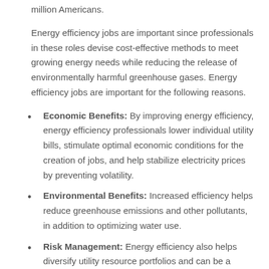million Americans.
Energy efficiency jobs are important since professionals in these roles devise cost-effective methods to meet growing energy needs while reducing the release of environmentally harmful greenhouse gases. Energy efficiency jobs are important for the following reasons.
Economic Benefits: By improving energy efficiency, energy efficiency professionals lower individual utility bills, stimulate optimal economic conditions for the creation of jobs, and help stabilize electricity prices by preventing volatility.
Environmental Benefits: Increased efficiency helps reduce greenhouse emissions and other pollutants, in addition to optimizing water use.
Risk Management: Energy efficiency also helps diversify utility resource portfolios and can be a